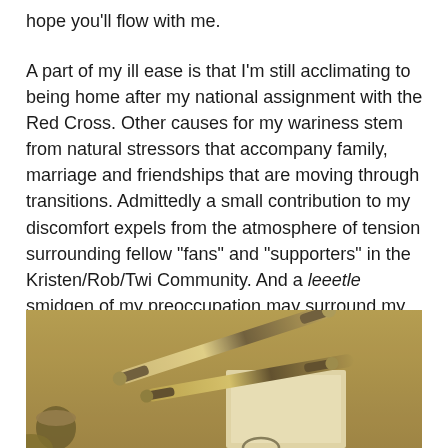hope you'll flow with me.
A part of my ill ease is that I'm still acclimating to being home after my national assignment with the Red Cross. Other causes for my wariness stem from natural stressors that accompany family, marriage and friendships that are moving through transitions. Admittedly a small contribution to my discomfort expels from the atmosphere of tension surrounding fellow “fans” and “supporters” in the Kristen/Rob/Twi Community. And a leeetle smidgen of my preoccupation may surround my decisions for following Bliss.
[Figure (photo): Sepia-toned photo of two fountain pens and a notepad on a desk surface]